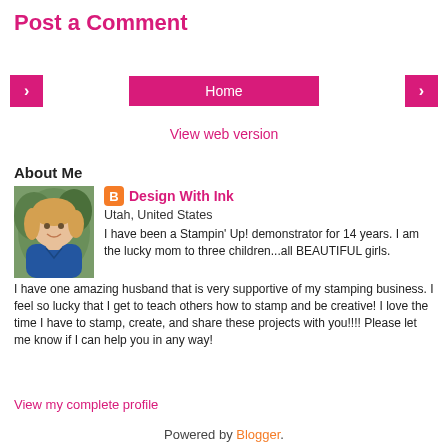Post a Comment
< (previous navigation button)
Home
> (next navigation button)
View web version
About Me
[Figure (photo): Profile photo of a blonde woman smiling, wearing a blue top, in front of green foliage]
Design With Ink
Utah, United States
I have been a Stampin' Up! demonstrator for 14 years. I am the lucky mom to three children...all BEAUTIFUL girls. I have one amazing husband that is very supportive of my stamping business. I feel so lucky that I get to teach others how to stamp and be creative! I love the time I have to stamp, create, and share these projects with you!!!! Please let me know if I can help you in any way!
View my complete profile
Powered by Blogger.